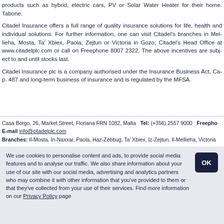products such as hybrid, electric cars, PV or Solar Water Heater for their home. Tabone.
Citadel Insurance offers a full range of quality insurance solutions for life, health and individual solutions. For further information, one can visit Citadel's branches in Mellieha, Mosta, Ta' Xbiex, Paola, Zejtun or Victoria in Gozo; Citadel's Head Office at www.citadelplc.com or call on Freephone 8007 2322. The above incentives are subject to and until stocks last.
Citadel Insurance plc is a company authorised under the Insurance Business Act, Cap. 487 and long-term business of insurance and is regulated by the MFSA.
Casa Borgo, 26, Market Street, Floriana FRN 1082, Malta   Tel: (+356) 2557 9000   Freephone: E-mail info@citadelplc.com Branches: Il-Mosta, In-Naxxar, Paola, Haz-Zebbug, Ta' Xbiex, Iz-Zejtun, Il-Mellieha, Victoria
We use cookies to personalise content and ads, to provide social media features and to analyse our traffic. We also share information about your use of our site with our social media, advertising and analytics partners who may combine it with other information that you've provided to them or that they've collected from your use of their services. Find more information on our Privacy Policy page